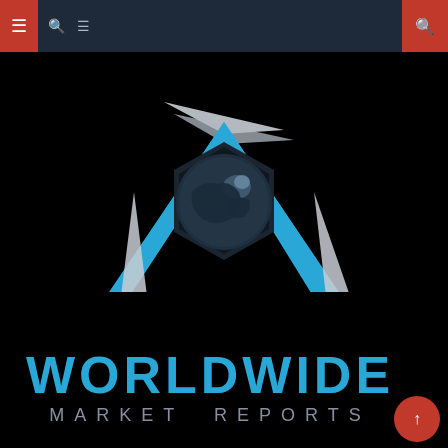Worldwide Market Reports navigation bar
[Figure (logo): Worldwide Market Reports logo: a geometric design featuring a cyan/blue triangle with a dark globe/shield emblem in the center, flanked by white/grey angular shapes, on a black background. Below the graphic: 'WORLDWIDE' in large cyan bold text and 'MARKET REPORTS' in grey spaced caps.]